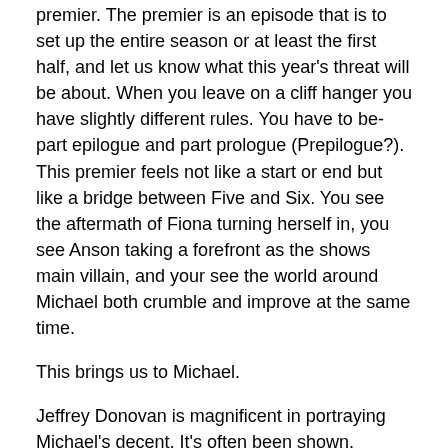premier.  The premier is an episode that is to set up the entire season or at least the first half, and let us know what this year's threat will be about. When you leave on a cliff hanger you have slightly different rules.  You have to be-part epilogue and part prologue (Prepilogue?).  This premier feels not like a start or end but like a bridge between Five and Six.  You see the aftermath of Fiona turning herself in, you see Anson taking a forefront as the shows main villain, and your see the world around Michael both crumble and improve at the same time.
This brings us to Michael.
Jeffrey Donovan is magnificent in portraying Michael's decent.  It's often been shown, especially in the later seasons, that Michael's humanity is firmly rooted in his friends and (reluctantly) his family and none more so then